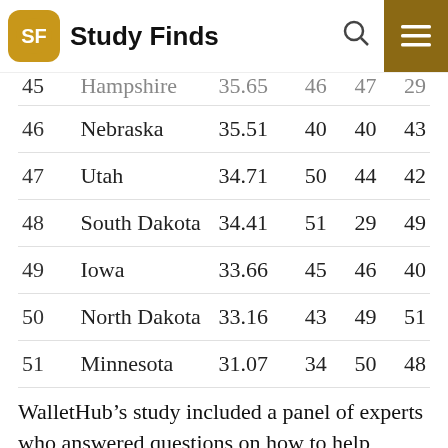Study Finds
| # | State | Score | Col4 | Col5 | Col6 |
| --- | --- | --- | --- | --- | --- |
| 45 | New Hampshire | 35.65 | 46 | 47 | 29 |
| 46 | Nebraska | 35.51 | 40 | 40 | 43 |
| 47 | Utah | 34.71 | 50 | 44 | 42 |
| 48 | South Dakota | 34.41 | 51 | 29 | 49 |
| 49 | Iowa | 33.66 | 45 | 46 | 40 |
| 50 | North Dakota | 33.16 | 43 | 49 | 51 |
| 51 | Minnesota | 31.07 | 34 | 50 | 48 |
WalletHub’s study included a panel of experts who answered questions on how to help Americans relieve financial stress and offered ways for parents especially to bring more calm into the household.
To read the study, click here.